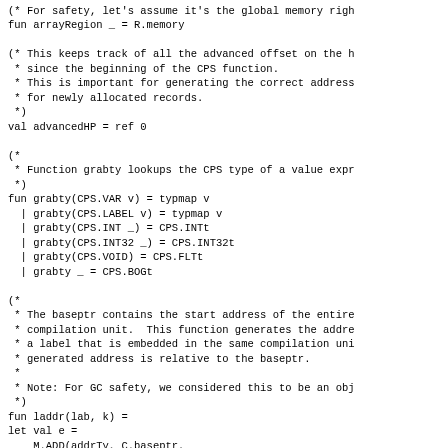Source code listing showing ML/SML functions including arrayRegion, advancedHP, grabty, laddr, and related comments about CPS type lookups, memory management, and label address generation.